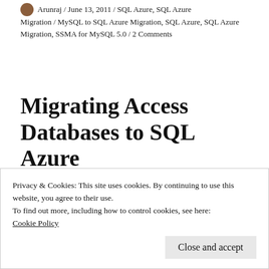Arunraj / June 13, 2011 / SQL Azure, SQL Azure Migration / MySQL to SQL Azure Migration, SQL Azure, SQL Azure Migration, SSMA for MySQL 5.0 / 2 Comments
Migrating Access Databases to SQL Azure
Step 1: Download and Install “Microsoft SQL Server Migration Assistant 2008 for Access v
Privacy & Cookies: This site uses cookies. By continuing to use this website, you agree to their use.
To find out more, including how to control cookies, see here: Cookie Policy